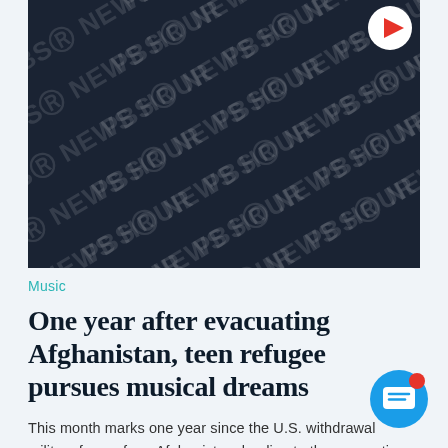[Figure (photo): PBS NewsHour branded watermark/logo pattern on dark navy background with repeating 'PBS NEWS HOUR' text in diagonal tiled pattern. A play button icon is visible in the top-right corner.]
Music
One year after evacuating Afghanistan, teen refugee pursues musical dreams
This month marks one year since the U.S. withdrawal military forces from Afghanistan, leading to the evacuation of tens…